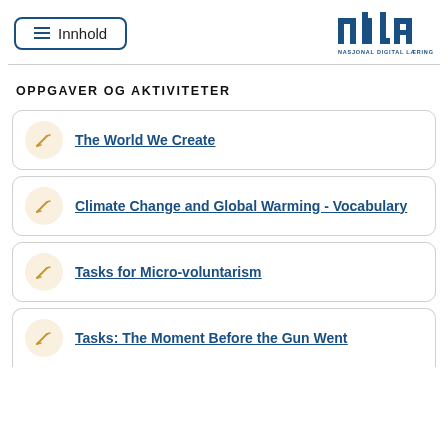Innhold | NDLA NASJONAL DIGITAL LÆRINGSARENA
OPPGAVER OG AKTIVITETER
The World We Create
Climate Change and Global Warming - Vocabulary
Tasks for Micro-voluntarism
Tasks: The Moment Before the Gun Went